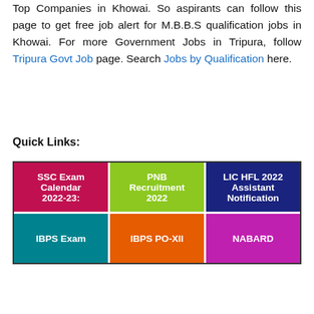Top Companies in Khowai. So aspirants can follow this page to get free job alert for M.B.B.S qualification jobs in Khowai. For more Government Jobs in Tripura, follow Tripura Govt Job page. Search Jobs by Qualification here.
Quick Links:
[Figure (infographic): A 2-row grid of 3 colored quick-link boxes: Row 1: SSC Exam Calendar 2022-23 (crimson), PNB Recruitment 2022 (green), LIC HFL 2022 Assistant Notification (navy). Row 2 (partially visible): IBPS Exam (teal), IBPS PO-XII (orange), NABARD (magenta).]